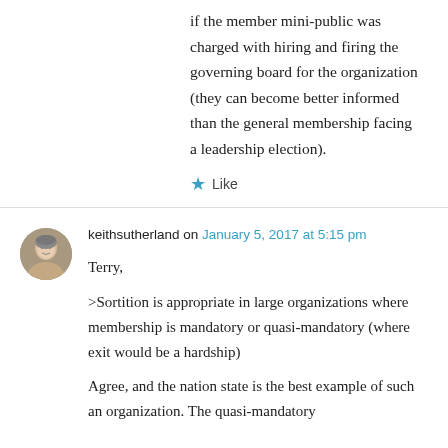if the member mini-public was charged with hiring and firing the governing board for the organization (they can become better informed than the general membership facing a leadership election).
★ Like
keithsutherland on January 5, 2017 at 5:15 pm
Terry,
>Sortition is appropriate in large organizations where membership is mandatory or quasi-mandatory (where exit would be a hardship)
Agree, and the nation state is the best example of such an organization. The quasi-mandatory